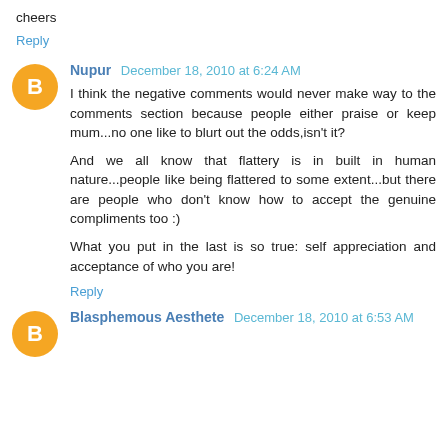cheers
Reply
Nupur  December 18, 2010 at 6:24 AM
I think the negative comments would never make way to the comments section because people either praise or keep mum...no one like to blurt out the odds,isn't it?
And we all know that flattery is in built in human nature...people like being flattered to some extent...but there are people who don't know how to accept the genuine compliments too :)
What you put in the last is so true: self appreciation and acceptance of who you are!
Reply
Blasphemous Aesthete  December 18, 2010 at 6:53 AM